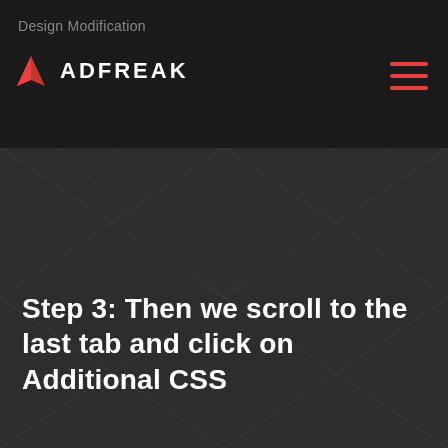Design Modification
[Figure (logo): ADFREAK logo with red triangle/mountain icon and white text ADFREAK]
[Figure (infographic): Dark background with diamond/chevron pattern and hamburger menu icon in red]
Step 3: Then we scroll to the last tab and click on Additional CSS